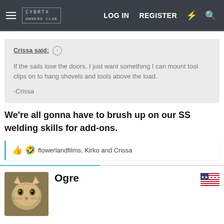CYBRTX OWNERS CLUB — LOG IN  REGISTER
Crissa said: ↑

If the sails lose the doors, I just want something I can mount tool clips on to hang shovels and tools above the load.

-Crissa
We're all gonna have to brush up on our SS welding skills for add-ons.
flowerlandfilms, Kirko and Crissa
Ogre